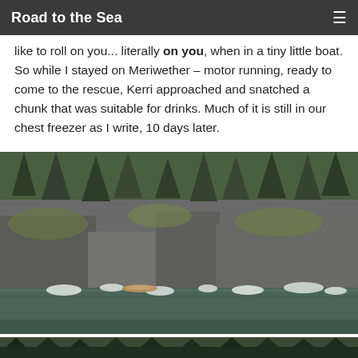Road to the Sea
like to roll on you... literally on you, when in a tiny little boat. So while I stayed on Meriwether – motor running, ready to come to the rescue, Kerri approached and snatched a chunk that was suitable for drinks. Much of it is still in our chest freezer as I write, 10 days later.
[Figure (photo): A rocky cliff shoreline with dense evergreen and deciduous trees, with a small kayak visible at the water's edge among floating ice chunks in a calm green inlet.]
[Figure (photo): Partial view of another outdoor/nature scene at the bottom of the page, mostly cut off.]